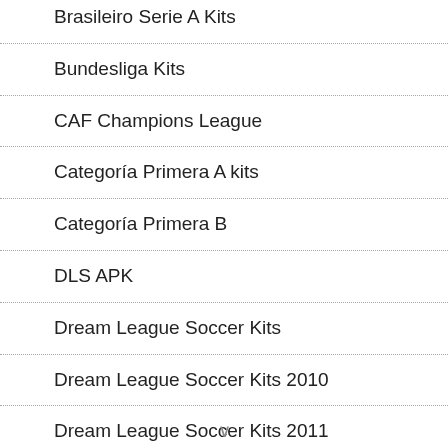Brasileiro Serie A Kits
Bundesliga Kits
CAF Champions League
Categoría Primera A kits
Categoría Primera B
DLS APK
Dream League Soccer Kits
Dream League Soccer Kits 2010
Dream League Soccer Kits 2011
Dream League Soccer Kits 2012